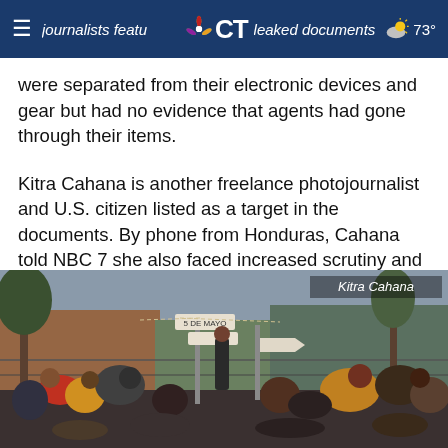journalists featured in leaked documents | CT | 73°
were separated from their electronic devices and gear but had no evidence that agents had gone through their items.
Kitra Cahana is another freelance photojournalist and U.S. citizen listed as a target in the documents. By phone from Honduras, Cahana told NBC 7 she also faced increased scrutiny and was eventually denied entry into Mexico for no apparent reason.
[Figure (photo): A crowd of migrants gathered outdoors near street signs and makeshift shelters; photo credited to Kitra Cahana]